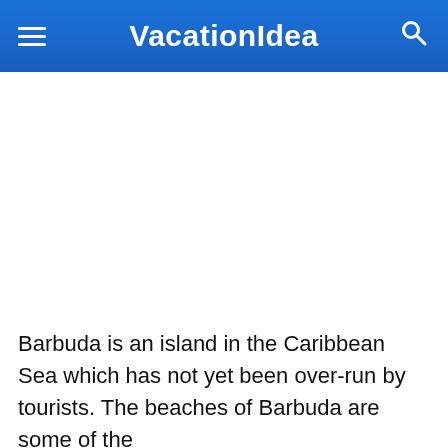VacationIdea
[Figure (photo): White/blank image placeholder area below the navigation header]
Barbuda is an island in the Caribbean Sea which has not yet been over-run by tourists. The beaches of Barbuda are some of the...